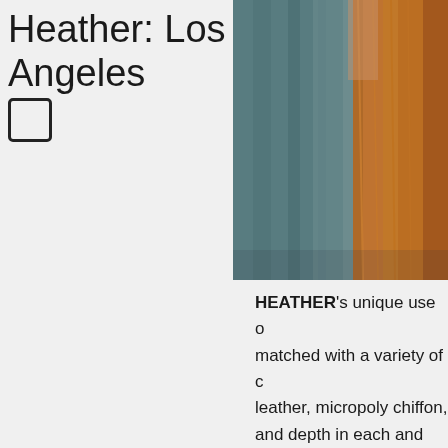Heather: Los Angeles
[Figure (photo): Photograph of a woman with long auburn/red hair, partially cropped, with a teal/blue-grey fabric or curtain in the background. The image is cropped at the right edge.]
HEATHER's unique use of [text continues off page] matched with a variety of [text continues off page] leather, micropoly chiffon, [text continues off page] and depth in each and ever[text continues off page] garment maintains a clear[text continues off page] Made in the USA. –Sugar[text continues off page] Philadelphia region.